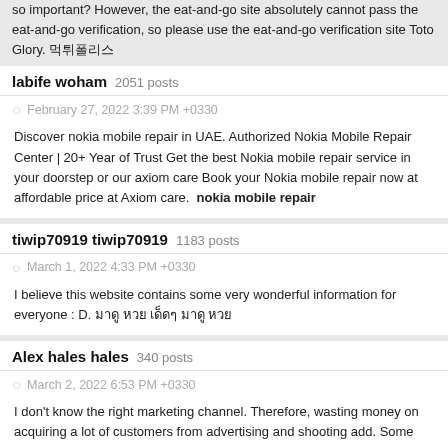so important? However, the eat-and-go site absolutely cannot pass the eat-and-go verification, so please use the eat-and-go verification site Toto Glory. 먹튀폴리스
labife woham 2051 posts
February 27, 2022 3:39 PM +0330
Discover nokia mobile repair in UAE. Authorized Nokia Mobile Repair Center | 20+ Year of Trust Get the best Nokia mobile repair service in your doorstep or our axiom care Book your Nokia mobile repair now at affordable price at Axiom care. nokia mobile repair
tiwip70919 tiwip70919 1183 posts
March 1, 2022 4:33 PM +0330
I believe this website contains some very wonderful information for everyone : D. มาดู หวย เด็ดๆ มาดู หวย
Alex hales hales 340 posts
March 2, 2022 6:53 PM +0330
I don't know the right marketing channel. Therefore, wasting money on acquiring a lot of customers from advertising and shooting add. Some people are looking for an SEO company in Bangkok but can't find them. www.SEOFASTWORK.com